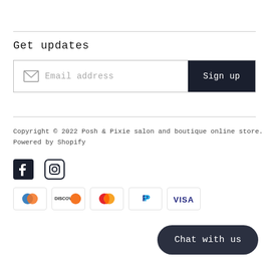Get updates
[Figure (other): Email subscription input box with envelope icon, placeholder text 'Email address', and a dark 'Sign up' button]
Copyright © 2022 Posh & Pixie salon and boutique online store. Powered by Shopify
[Figure (other): Social media icons: Facebook and Instagram]
[Figure (other): Payment method icons: Diners Club, Discover, Mastercard, PayPal, Visa]
[Figure (other): Chat with us button (dark rounded pill button)]